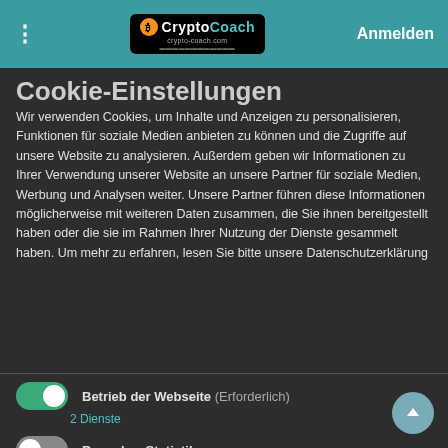CryptoCo​ach – Anmelden
Cookie-Einstellungen
Wir verwenden Cookies, um Inhalte und Anzeigen zu personalisieren, Funktionen für soziale Medien anbieten zu können und die Zugriffe auf unsere Website zu analysieren. Außerdem geben wir Informationen zu Ihrer Verwendung unserer Website an unsere Partner für soziale Medien, Werbung und Analysen weiter. Unsere Partner führen diese Informationen möglicherweise mit weiteren Daten zusammen, die Sie ihnen bereitgestellt haben oder die sie im Rahmen Ihrer Nutzung der Dienste gesammelt haben. Um mehr zu erfahren, lesen Sie bitte unsere Datenschutzerklärung
Betrieb der Webseite (Erforderlich) – 2 Dienste
Besucher-Statistiken – 1 Dienst
Styling